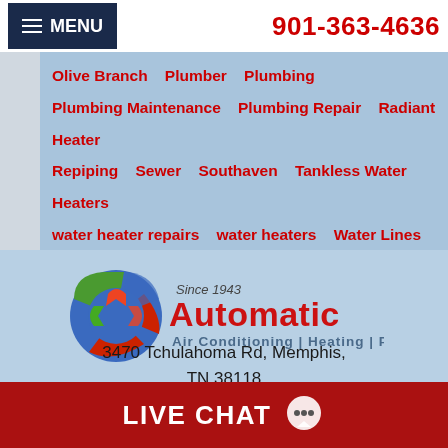MENU | 901-363-4636
Olive Branch   Plumber   Plumbing   Plumbing Maintenance   Plumbing Repair   Radiant Heater   Repiping   Sewer   Southaven   Tankless Water Heaters   water heater repairs   water heaters   Water Lines
[Figure (logo): Automatic Air Conditioning | Heating | Plumbing logo with circular arrow design and 'Since 1943' text]
3470 Tchulahoma Rd, Memphis, TN 38118
License# TN-6974
LIVE CHAT